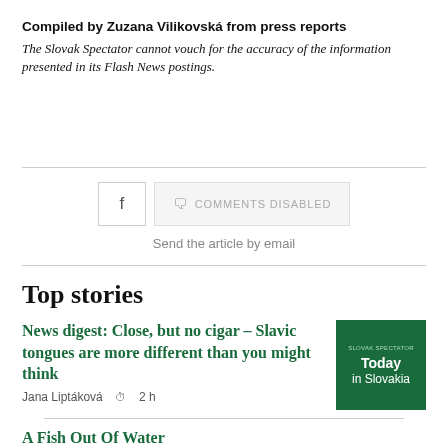Compiled by Zuzana Vilikovská from press reports
The Slovak Spectator cannot vouch for the accuracy of the information presented in its Flash News postings.
[Figure (other): Social sharing buttons: Facebook icon button, Comments Disabled button, and Send the article by email link]
Top stories
News digest: Close, but no cigar – Slavic tongues are more different than you might think
Jana Liptáková  2 h
[Figure (other): Green thumbnail image with text 'Today in Slovakia']
A Fish Out Of Water